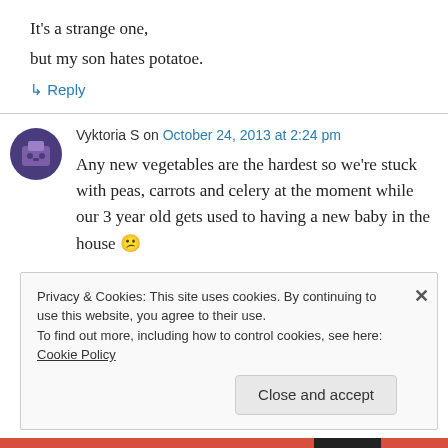It's a strange one,
but my son hates potatoe.
↳ Reply
Vyktoria S on October 24, 2013 at 2:24 pm
Any new vegetables are the hardest so we're stuck with peas, carrots and celery at the moment while our 3 year old gets used to having a new baby in the house 😕
Privacy & Cookies: This site uses cookies. By continuing to use this website, you agree to their use.
To find out more, including how to control cookies, see here: Cookie Policy
Close and accept